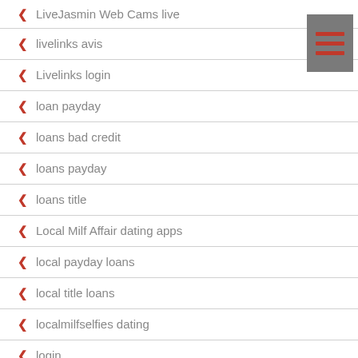LiveJasmin Web Cams live
livelinks avis
Livelinks login
loan payday
loans bad credit
loans payday
loans title
Local Milf Affair dating apps
local payday loans
local title loans
localmilfselfies dating
login
lonely housewife hookup